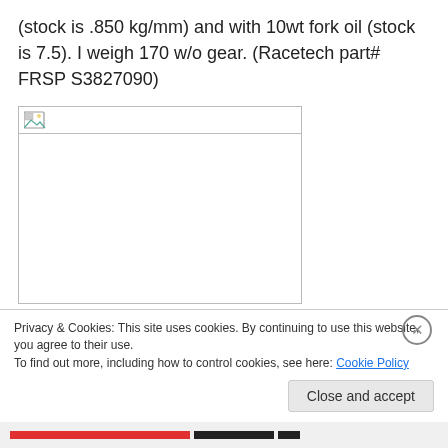(stock is .850 kg/mm) and with 10wt fork oil (stock is 7.5). I weigh 170 w/o gear. (Racetech part# FRSP S3827090)
[Figure (photo): Broken/missing image placeholder inside a bordered box]
Now I had done some tweeking to my stock forks before installing these Racetech. I had installed 25mm spacers in each fork and used 5wt fork oil.  It made a
Privacy & Cookies: This site uses cookies. By continuing to use this website, you agree to their use.
To find out more, including how to control cookies, see here: Cookie Policy